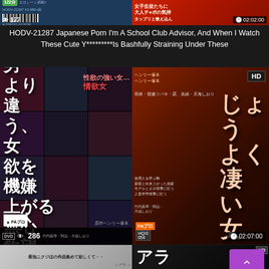[Figure (screenshot): Top thumbnail strip with two video thumbnails side by side. Left shows a bluish DVD cover with view count 177. Right shows a red/orange Japanese text cover with time badge 02:02:00.]
HODV-21287 Japanese Porn I'm A School Club Advisor, And When I Watch These Cute Y*********Is Bashfully Straining Under These
[Figure (screenshot): Large main video thumbnail divided left and right. Left panel shows mosaic grid of scenes with large Japanese text overlay. Right panel shows reddish-brown cover art with Japanese title text, HD badge, and time 02:07:00. View count 286 shown on left panel.]
HQIS-054 Japanese Porn A Henry Tsukamoto Production Hot Passion Furious Women
[Figure (screenshot): Bottom thumbnails row: left shows light/grey Japanese text over still image, right shows dark cover with large white Japanese characters アラ and HD badge.]